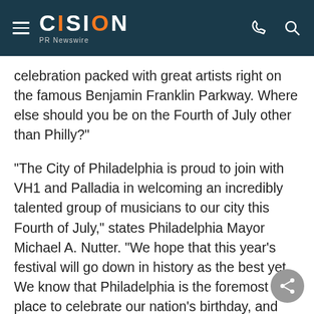CISION PR Newswire
celebration packed with great artists right on the famous Benjamin Franklin Parkway. Where else should you be on the Fourth of July other than Philly?"
"The City of Philadelphia is proud to join with VH1 and Palladia in welcoming an incredibly talented group of musicians to our city this Fourth of July," states Philadelphia Mayor Michael A. Nutter. "We hope that this year's festival will go down in history as the best yet. We know that Philadelphia is the foremost place to celebrate our nation's birthday, and with this superb lineup of talent, we have an opportunity to